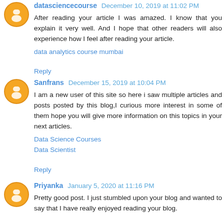datasciencecourse December 10, 2019 at 11:02 PM
After reading your article I was amazed. I know that you explain it very well. And I hope that other readers will also experience how I feel after reading your article.
data analytics course mumbai
Reply
Sanfrans December 15, 2019 at 10:04 PM
I am a new user of this site so here i saw multiple articles and posts posted by this blog,I curious more interest in some of them hope you will give more information on this topics in your next articles.
Data Science Courses
Data Scientist
Reply
Priyanka January 5, 2020 at 11:16 PM
Pretty good post. I just stumbled upon your blog and wanted to say that I have really enjoyed reading your blog.